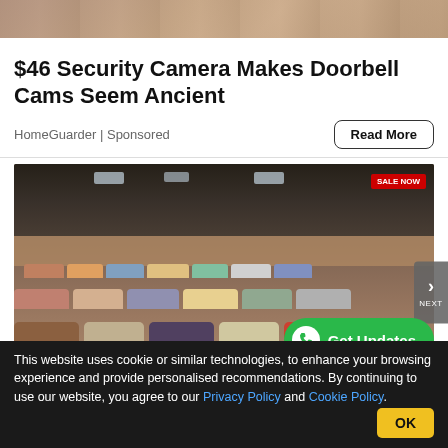[Figure (photo): Top portion of a security camera photo, partially cropped]
$46 Security Camera Makes Doorbell Cams Seem Ancient
HomeGuarder | Sponsored
Read More
[Figure (photo): Interior of a large furniture warehouse showroom with rows of sofas and a SALE NOW banner in the top right corner]
Ashburn: Unsold Sofas Are
Get Updates
This website uses cookie or similar technologies, to enhance your browsing experience and provide personalised recommendations. By continuing to use our website, you agree to our Privacy Policy and Cookie Policy.
OK